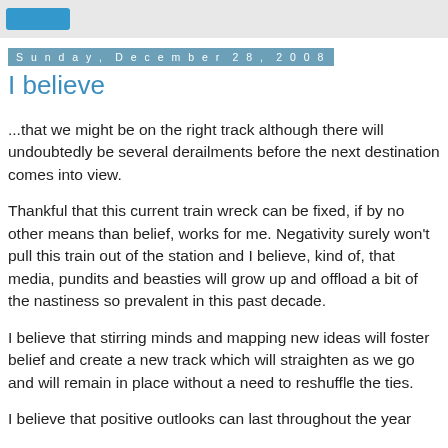Sunday, December 28, 2008
I believe
...that we might be on the right track although there will undoubtedly be several derailments before the next destination comes into view.
Thankful that this current train wreck can be fixed, if by no other means than belief, works for me. Negativity surely won't pull this train out of the station and I believe, kind of, that media, pundits and beasties will grow up and offload a bit of the nastiness so prevalent in this past decade.
I believe that stirring minds and mapping new ideas will foster belief and create a new track which will straighten as we go and will remain in place without a need to reshuffle the ties.
I believe that positive outlooks can last throughout the year